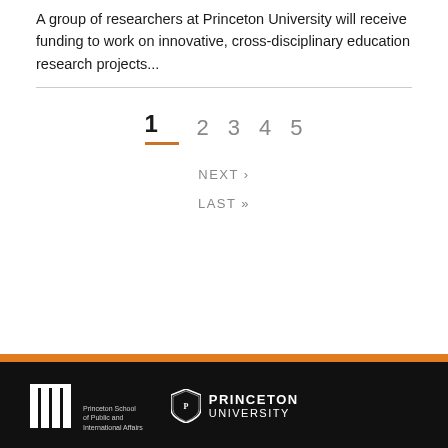A group of researchers at Princeton University will receive funding to work on innovative, cross-disciplinary education research projects...
1  2  3  4  5
NEXT ›
LAST »
Princeton School of Public and International Affairs  |  PRINCETON UNIVERSITY